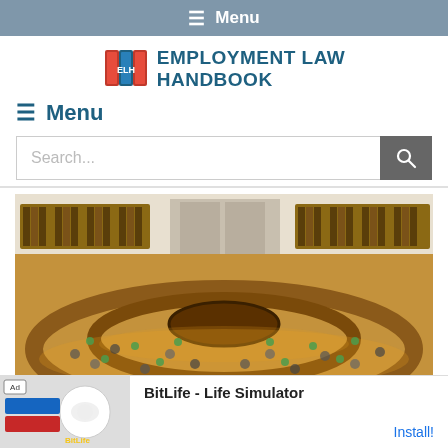≡ Menu
[Figure (logo): Employment Law Handbook logo with ELH book icon and text]
≡ Menu
Search...
[Figure (photo): Aerial view of a large circular law library reading room with bookshelves lining the walls and many people seated at curved wooden desks]
[Figure (screenshot): Ad banner for BitLife - Life Simulator app with Install button]